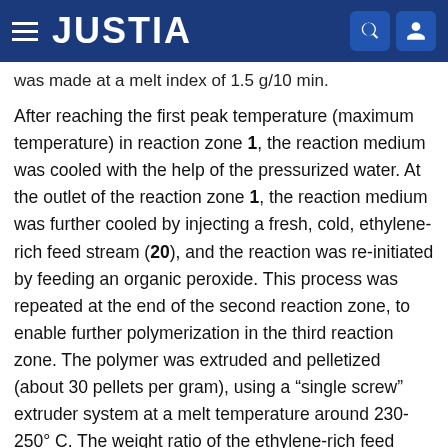JUSTIA
was made at a melt index of 1.5 g/10 min.
After reaching the first peak temperature (maximum temperature) in reaction zone 1, the reaction medium was cooled with the help of the pressurized water. At the outlet of the reaction zone 1, the reaction medium was further cooled by injecting a fresh, cold, ethylene-rich feed stream (20), and the reaction was re-initiated by feeding an organic peroxide. This process was repeated at the end of the second reaction zone, to enable further polymerization in the third reaction zone. The polymer was extruded and pelletized (about 30 pellets per gram), using a “single screw” extruder system at a melt temperature around 230-250° C. The weight ratio of the ethylene-rich feed streams (9:20:21) to the three reaction zones was 1.00:0.75:0.25. The R2 and R3 values each approached infinity (∞). The R values are calculated according to International Publication WO 2013/059042